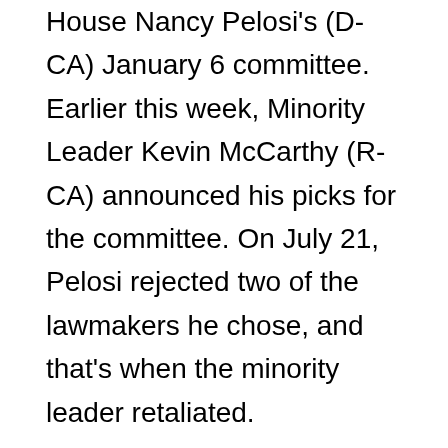House Nancy Pelosi's (D-CA) January 6 committee. Earlier this week, Minority Leader Kevin McCarthy (R-CA) announced his picks for the committee. On July 21, Pelosi rejected two of the lawmakers he chose, and that's when the minority leader retaliated.
Pelosi announced she would not allow Reps. Jim Jordan (OH) or Jim Banks (IN) to serve on the Jan. 6 committee. In a statement, the Speaker said the Democratic Party raised concerns about the lawmakers' ability to serve on the committee without compromising the